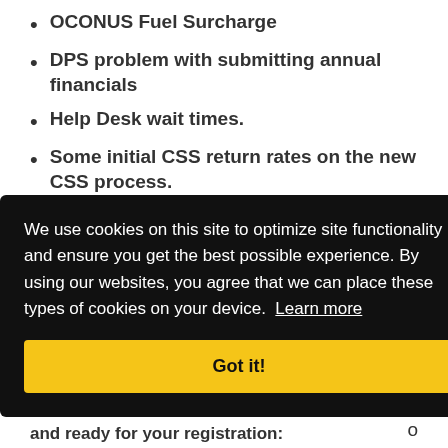OCONUS Fuel Surcharge
DPS problem with submitting annual financials
Help Desk wait times.
Some initial CSS return rates on the new CSS process.
Coming Up at JAM
We use cookies on this site to optimize site functionality and ensure you get the best possible experience. By using our websites, you agree that we can place these types of cookies on your device. Learn more
and learn up o
and ready for your registration: